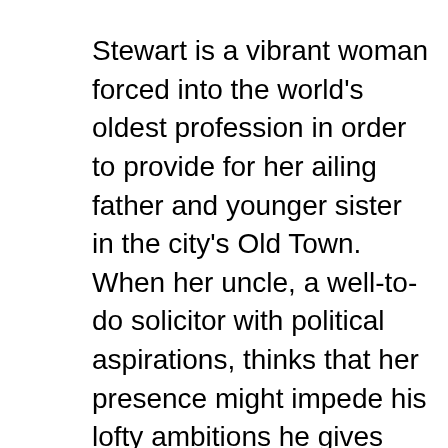Stewart is a vibrant woman forced into the world's oldest profession in order to provide for her ailing father and younger sister in the city's Old Town. When her uncle, a well-to-do solicitor with political aspirations, thinks that her presence might impede his lofty ambitions he gives her a way out with dignity: a one-way ticket to the frontier town of Anyox, British Columbia, where nurses are needed to care for injured soldiers returning from the war. Mary agrees to depart Scotland and leaves her sister in the care of her uncle, but finds that a past like hers is not easy to escape, and that living on the frontier has more challenges than even the darkest streets of Old Town. She must survive by her quick intelligence, but that is a quality that few women were allowed to reveal. In his historical epic Dominion of Mercy, Danial Neil gives vivid life to the gritty world of an early